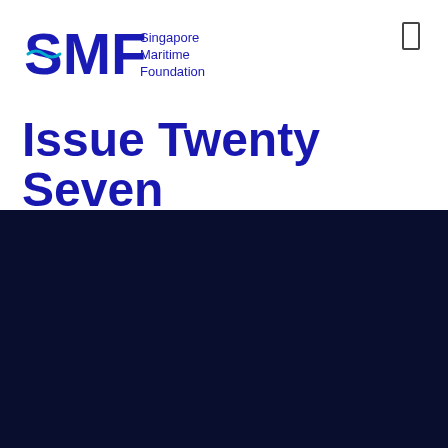[Figure (logo): Singapore Maritime Foundation (SMF) logo in blue on white background, top left]
Issue Twenty Seven
[Figure (logo): Singapore Maritime Foundation (SMF) logo in white on dark navy background, bottom section]
Subscribe to Our Newsletter
Your email address
Sign up